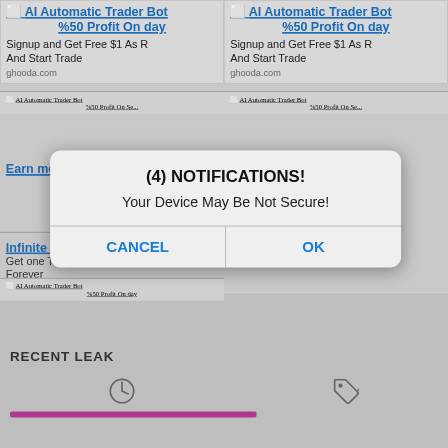[Figure (screenshot): Screenshot of a mobile browser showing spam/scam ads for 'AI Automatic Trader Bot %50 Profit On day' from ghooda.com arranged in a 2-column grid, with a system notification dialog overlaid on top reading '(4) NOTIFICATIONS! Your Device May Be Not Secure!' with CANCEL and OK buttons. Below the dialog is a 'RECENT LEAK' section with a clock icon, tag icon, and a pink progress bar.]